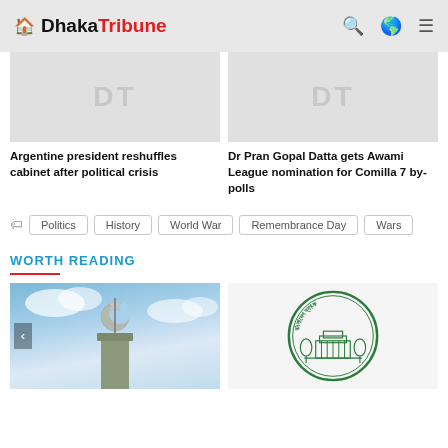Dhaka Tribune
[Figure (screenshot): Placeholder image with DT watermark for Argentine president article]
Argentine president reshuffles cabinet after political crisis
[Figure (screenshot): Placeholder image with DT watermark for Dr Pran Gopal Datta article]
Dr Pran Gopal Datta gets Awami League nomination for Comilla 7 by-polls
Politics
History
World War
Remembrance Day
Wars
WORTH READING
[Figure (photo): Mosque minaret with crescent and star against blue sky with clouds]
[Figure (logo): Bangladesh Bank circular logo with Bengali text and building illustration]